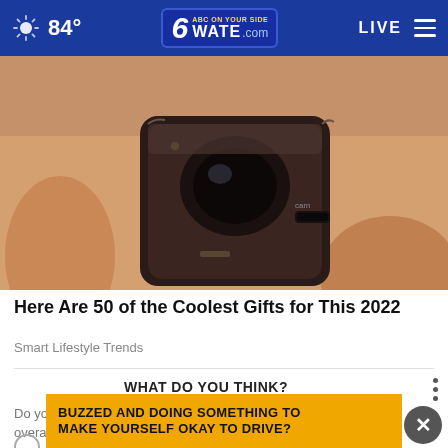84° WATE.com LIVE
[Figure (photo): Close-up photo of a tiny spy camera being held between fingers]
Here Are 50 of the Coolest Gifts for This 2022
Smart Lifestyle Trends
WHAT DO YOU THINK?
Do you think repeating a grade could be harmful to a child's overall...
BUZZED AND DOING SOMETHING TO MAKE YOURSELF OKAY TO DRIVE?